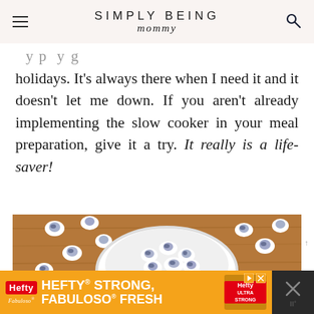SIMPLY BEING mommy
holidays. It's always there when I need it and it doesn't let me down. If you aren't already implementing the slow cooker in your meal preparation, give it a try. It really is a life-saver!
[Figure (photo): Overhead photo of white bowl filled with chocolate-dipped or yogurt-covered blueberries/candies on a wooden surface, with more pieces scattered around]
[Figure (other): Advertisement banner: Hefty Strong, Fabuloso Fresh ad in orange with Hefty logo and Fabuloso branding]